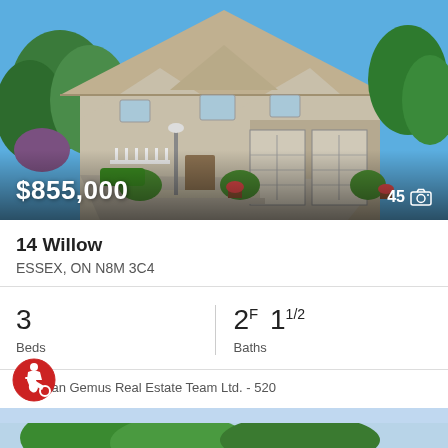[Figure (photo): Exterior photo of a large two-storey brick and siding house with triple garage doors, landscaped front yard, blue sky. Price overlay $855,000 bottom left, photo count 45 with camera icon bottom right.]
14 Willow
ESSEX, ON N8M 3C4
3 Beds  2F 11/2 Baths
The Dan Gemus Real Estate Team Ltd. - 520
[Figure (photo): Partial bottom preview of another property listing with trees and blue sky visible.]